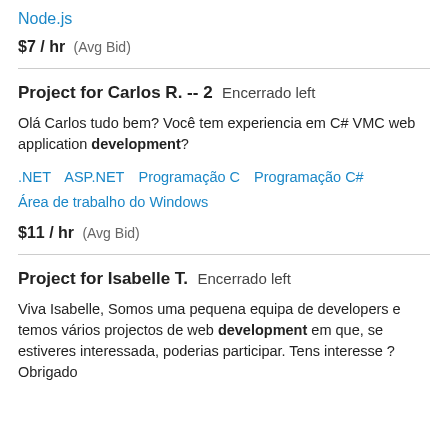Node.js
$7 / hr  (Avg Bid)
Project for Carlos R. -- 2  Encerrado left
Olá Carlos tudo bem? Você tem experiencia em C# VMC web application development?
.NET  ASP.NET  Programação C  Programação C#  Área de trabalho do Windows
$11 / hr  (Avg Bid)
Project for Isabelle T.  Encerrado left
Viva Isabelle, Somos uma pequena equipa de developers e temos vários projectos de web development em que, se estiveres interessada, poderias participar. Tens interesse ? Obrigado